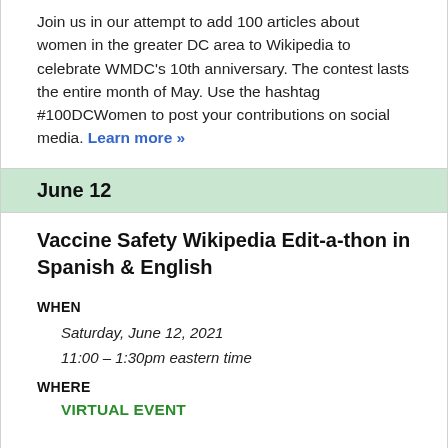Join us in our attempt to add 100 articles about women in the greater DC area to Wikipedia to celebrate WMDC's 10th anniversary. The contest lasts the entire month of May. Use the hashtag #100DCWomen to post your contributions on social media. Learn more »
June 12
Vaccine Safety Wikipedia Edit-a-thon in Spanish & English
WHEN
Saturday, June 12, 2021
11:00 – 1:30pm eastern time
WHERE
VIRTUAL EVENT